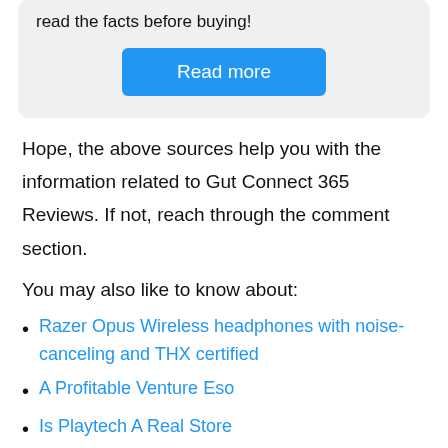read the facts before buying!
[Figure (other): Blue 'Read more' button]
Hope, the above sources help you with the information related to Gut Connect 365 Reviews. If not, reach through the comment section.
You may also like to know about:
Razer Opus Wireless headphones with noise-canceling and THX certified
A Profitable Venture Eso
Is Playtech A Real Store